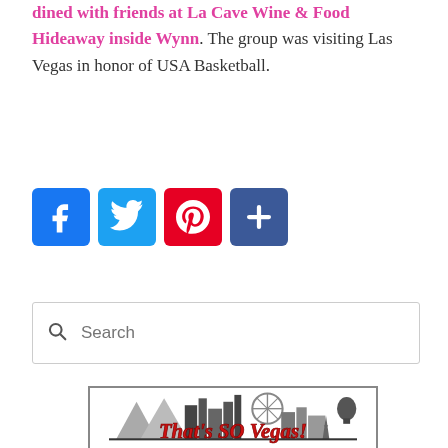dined with friends at La Cave Wine & Food Hideaway inside Wynn. The group was visiting Las Vegas in honor of USA Basketball.
[Figure (infographic): Social share buttons: Facebook (blue), Twitter (light blue), Pinterest (red), Add/More (dark blue)]
Search
[Figure (logo): That's SO Vegas! logo with Las Vegas skyline silhouette in grey and red bold text]